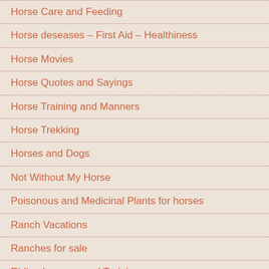Horse Care and Feeding
Horse deseases – First Aid – Healthiness
Horse Movies
Horse Quotes and Sayings
Horse Training and Manners
Horse Trekking
Horses and Dogs
Not Without My Horse
Poisonous and Medicinal Plants for horses
Ranch Vacations
Ranches for sale
Riding Lessons and Training